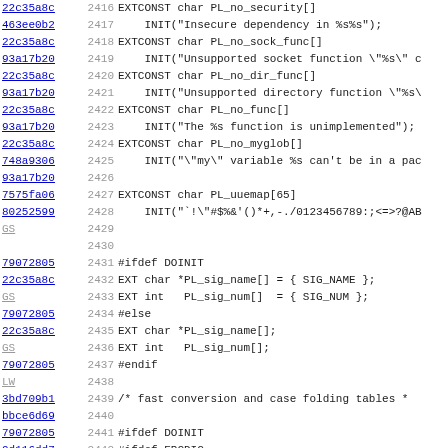| hash | line | code |
| --- | --- | --- |
| 22c35a8c | 2416 | EXTCONST char PL_no_security[] |
| 463ee0b2 | 2417 |     INIT("Insecure dependency in %s%s"); |
| 22c35a8c | 2418 | EXTCONST char PL_no_sock_func[] |
| 93a17b20 | 2419 |     INIT("Unsupported socket function \"%s\" c |
| 22c35a8c | 2420 | EXTCONST char PL_no_dir_func[] |
| 93a17b20 | 2421 |     INIT("Unsupported directory function \"%s\ |
| 22c35a8c | 2422 | EXTCONST char PL_no_func[] |
| 93a17b20 | 2423 |     INIT("The %s function is unimplemented"); |
| 22c35a8c | 2424 | EXTCONST char PL_no_myglob[] |
| 748a9306 | 2425 |     INIT("\"my\" variable %s can't be in a pac |
| 93a17b20 | 2426 |  |
| 7575fa06 | 2427 | EXTCONST char PL_uuemap[65] |
| 80252599 | 2428 |     INIT("`!\"#$%&'()*+,-./0123456789:;<=>?@AB |
| GS | 2429 |  |
|  | 2430 |  |
| 79072805 | 2431 | #ifdef DOINIT |
| 22c35a8c | 2432 | EXT char *PL_sig_name[] = { SIG_NAME }; |
| GS | 2433 | EXT int   PL_sig_num[]  = { SIG_NUM }; |
| 79072805 | 2434 | #else |
| 22c35a8c | 2435 | EXT char *PL_sig_name[]; |
| GS | 2436 | EXT int   PL_sig_num[]; |
| 79072805 | 2437 | #endif |
| LW | 2438 |  |
| 3bd709b1 | 2439 | /* fast conversion and case folding tables * |
| bbce6d69 | 2440 |  |
| 79072805 | 2441 | #ifdef DOINIT |
| 9d116dd7 | 2442 | #ifdef EBCDIC |
| 3bd709b1 | 2443 | #if '^' == 106  /* if defined(_OSD_POSIX) PO |
| PP | 2444 | EXT unsigned char PL_e2a[] = { /* ASCII (ISO |
|  | 2445 |     0,       1,       2,       3,      55, |
|  | 2446 |     22,      5,      21,      11,      12, |
|  | 2447 |     16,     17,      18,      19,      60, |
|  | 2448 |     01,     05,      00,      00,      00, |